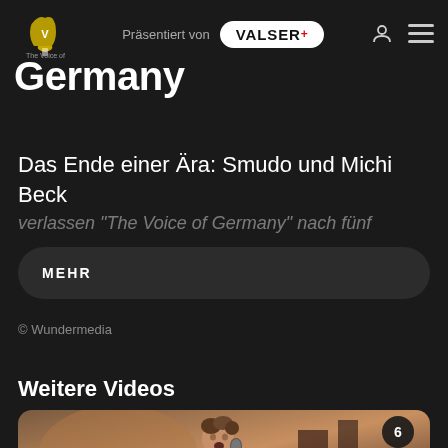Präsentiert von VALSER+
Germany
Das Ende einer Ära: Smudo und Michi Beck
verlassen "The Voice of Germany" nach fünf
MEHR
© Wundermedia
Weitere Videos
[Figure (photo): A young boy singing into a microphone on stage, with number badge 6 in top right corner]